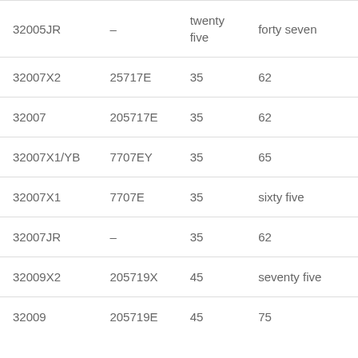| 32005JR | – | twenty five | forty seven |
| 32007X2 | 25717E | 35 | 62 |
| 32007 | 205717E | 35 | 62 |
| 32007X1/YB | 7707EY | 35 | 65 |
| 32007X1 | 7707E | 35 | sixty five |
| 32007JR | – | 35 | 62 |
| 32009X2 | 205719X | 45 | seventy five |
| 32009 | 205719E | 45 | 75 |